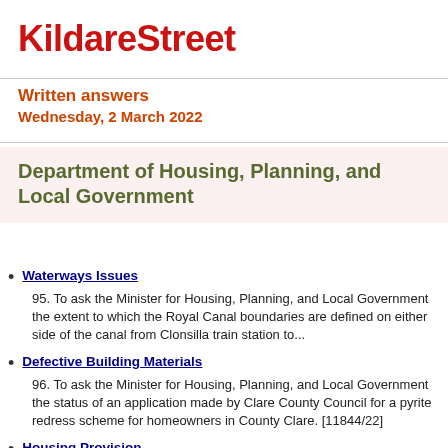KildareStreet
Written answers
Wednesday, 2 March 2022
Department of Housing, Planning, and Local Government
Waterways Issues
95. To ask the Minister for Housing, Planning, and Local Government the extent to which the Royal Canal boundaries are defined on either side of the canal from Clonsilla train station to...
Defective Building Materials
96. To ask the Minister for Housing, Planning, and Local Government the status of an application made by Clare County Council for a pyrite redress scheme for homeowners in County Clare. [11844/22]
Housing Provision
97. To ask the Minister for Housing, Planning, and Local Government the status of the provision of social and affordable housing in County Clare. [11845/22]
... (cut off)